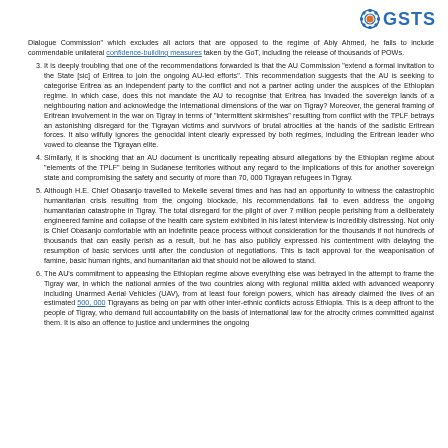[Figure (logo): GSTS logo with gear icon in top right corner]
Dialogue Commission" which excludes all actors that are opposed to the regime of Abiy Ahmed, he fails to include commendable unilateral confidence-building measures taken by the GoT, including the release of thousands of POWs.
3. It is deeply troubling that one of the recommendations forwarded is that the AU Commission "extend a formal invitation to the State [sic] of Eritrea to join the ongoing AU-led efforts". This recommendation suggests that the AU is seeking to categorise Eritrea as an independent party to the conflict and not a partner acting under the auspices of the Ethiopian regime. In which case, does this not mandate the AU to recognise that Eritrea has invaded the sovereign lands of a neighbouring nation and acknowledge the international dimensions of the war on Tigray? Moreover, the general framing of Eritrean involvement in the war on Tigray in terms of "intermittent skirmishes" resulting from conflict with the TPLF betrays an astonishing disregard for the Tigrayan victims and survivors of brutal atrocities at the hands of the sadistic Eritrean forces. It also wilfully ignores the genocidal intent clearly expressed by both regimes, including the Eritrean leader who vowed to cleanse the Tigrayan elite.
4. Similarly, it is shocking that an AU document is uncritically repeating absurd allegations by the Ethiopian regime about "elements of the TPLF" being in Sudanese territories without any regard to the implications of this for another sovereign state and compromising the safety and security of more than 70, 000 Tigrayan refugees in Tigray.
5. Although H.E. Chief Obasanjo travelled to Mekelle several times and has had an opportunity to witness the catastrophic humanitarian crisis resulting from the ongoing blockade, his recommendations fail to even address the ongoing humanitarian catastrophe in Tigray. The total disregard for the plight of over 7 million people perishing from a deliberately engineered famine and collapse of the health care system exhibited in his latest interview is incredibly distressing. Not only is Chief Obasanjo comfortable with an indefinite peace process without consideration for the thousands if not hundreds of thousands that can easily perish as a result, but he has also publicly expressed his contentment with delaying the resumption of basic services until after the conclusion of negotiations. This is tacit approval for the weaponisation of famine, basic human rights, and humanitarian aid that should not be allowed to stand.
6. The AU's commitment to appeasing the Ethiopian regime above everything else was betrayed in the attempt to frame the Tigray war, in which the national armies of the two countries along with regional militia aided with advanced weaponry including Unarmed Aerial Vehicles (UAV), from at least four foreign powers, which has already claimed the lives of an estimated 500, 000 Tigrayans as being on par with other inter-ethnic conflicts across Ethiopia. This is a deep affront to the people of Tigray, who demand full accountability on the basis of international law for the atrocity crimes committed against them. It is also an offence to justice and undermines the ongoing